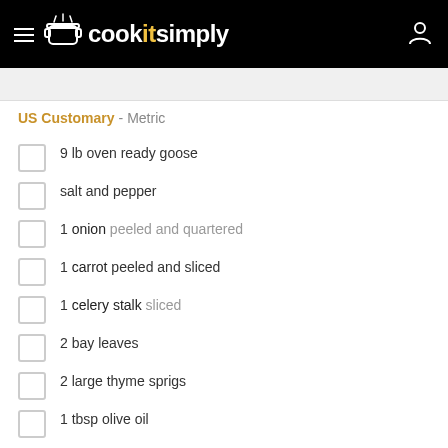cookitsimply
US Customary - Metric
9 lb oven ready goose
salt and pepper
1 onion peeled and quartered
1 carrot peeled and sliced
1 celery stalk sliced
2 bay leaves
2 large thyme sprigs
1 tbsp olive oil
4 shallots peeled and chopped
8 oz sorrel or baby spinach
24 oz jar morrello cherries pitted and roughly chopped
2 tbsp Soft Brown Sugar
3 floz dry white wine
1 tbsp plain flour All purpose